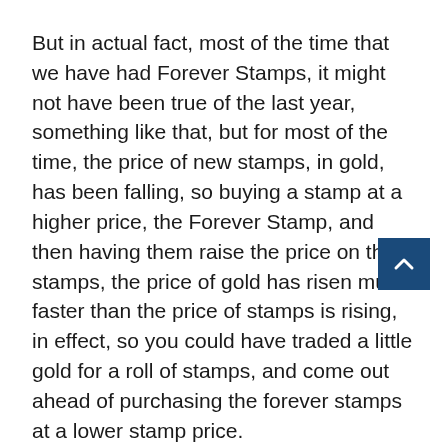But in actual fact, most of the time that we have had Forever Stamps, it might not have been true of the last year, something like that, but for most of the time, the price of new stamps, in gold, has been falling, so buying a stamp at a higher price, the Forever Stamp, and then having them raise the price on the stamps, the price of gold has risen much faster than the price of stamps is rising, in effect, so you could have traded a little gold for a roll of stamps, and come out ahead of purchasing the forever stamps at a lower stamp price.
That was one of the things that really kind of rocked world, and the more I thought about it, the more I rea t has to be that way.  It is almost a built-in feature of the way the postage service has misestablished this run, because